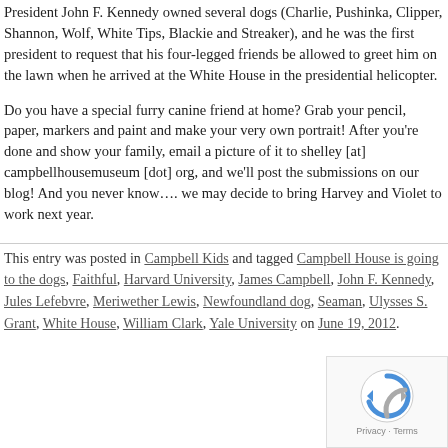President John F. Kennedy owned several dogs (Charlie, Pushinka, Clipper, Shannon, Wolf, White Tips, Blackie and Streaker), and he was the first president to request that his four-legged friends be allowed to greet him on the lawn when he arrived at the White House in the presidential helicopter.
Do you have a special furry canine friend at home? Grab your pencil, paper, markers and paint and make your very own portrait! After you're done and show your family, email a picture of it to shelley [at] campbellhousemuseum [dot] org, and we'll post the submissions on our blog! And you never know…. we may decide to bring Harvey and Violet to work next year.
This entry was posted in Campbell Kids and tagged Campbell House is going to the dogs, Faithful, Harvard University, James Campbell, John F. Kennedy, Jules Lefebvre, Meriwether Lewis, Newfoundland dog, Seaman, Ulysses S. Grant, White House, William Clark, Yale University on June 19, 2012.
[Figure (other): reCAPTCHA widget with refresh icon and Privacy/Terms label]